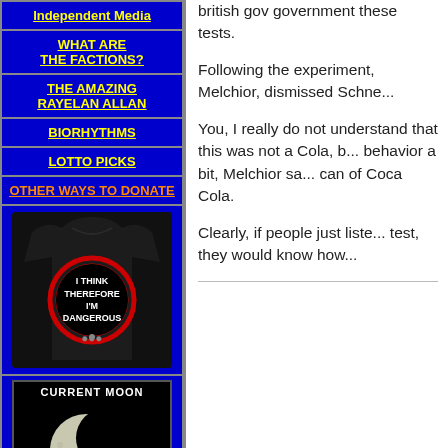WHAT ARE THE FACTIONS?
THE AMAZING RAYELAN ALLAN
BIORHYTHMS
LOTTO PICKS
OTHER WAYS TO DONATE
[Figure (photo): Black t-shirt with circular logo reading 'I THINK THEREFORE I'M DANGEROUS' with a CIA-style seal]
[Figure (photo): Current Moon display showing a crescent moon image on black background with label CURRENT MOON]
british gov government these tests.
Following the experiment, Melchior, dismissed Schne...
You, I really do not understand that this was not a Cola, b... behavior a bit, Melchior sa... can of Coca Cola.
Clearly, if people just liste... test, they would know how...